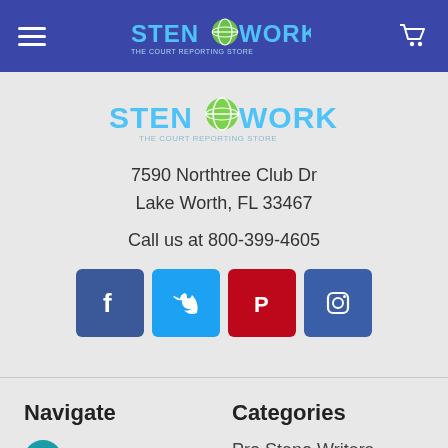[Figure (logo): StenoWorks logo in navigation bar - blue background with hamburger menu on left, logo in center, cart icon on right]
[Figure (logo): StenoWorks center logo - STEN globe WORKS with tagline]
7590 Northtree Club Dr
Lake Worth, FL 33467
Call us at 800-399-4605
[Figure (infographic): Social media icons: Facebook (blue), Twitter (light blue), Pinterest (red), Instagram (dark blue)]
Navigate
Categories
ancing
Pro Steno Writers